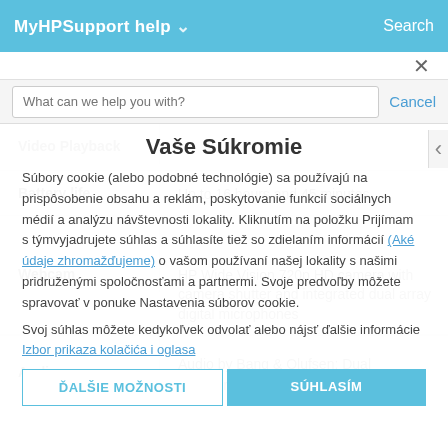MyHPSupport help  Search
What can we help you with?  Cancel
Vaše Súkromie
Súbory cookie (alebo podobné technológie) sa používajú na prispôsobenie obsahu a reklám, poskytovanie funkcií sociálnych médií a analýzu návštevnosti lokality. Kliknutím na položku Prijímam s týmvyjadrujete súhlas a súhlasíte tiež so zdielaním informácií (Aké údaje zhromažďujeme) o vašom používaní našej lokality s našimi pridruženými spoločnosťami a partnermi. Svoje predvoľby môžete spravovať v ponuke Nastavenia súborov cookie. Svoj súhlas môžete kedykoľvek odvolať alebo nájsť ďalšie informácie Izbor prikaza kolačića i oglasa
| Feature | Value |
| --- | --- |
| Video Playback |  |
| Battery life | Up to 16 hours and 45 minutes |
| Webcam | HP Wide Vision 720p HD camera with camera shutter and integrated dual array digital microphones |
| Audio | Audio by Bang & Olufsen; Dual speakers; HP Audio Boost |
ĎALŠIE MOŽNOSTI   SÚHLASÍM